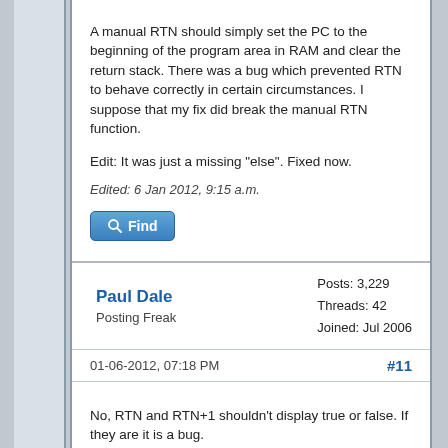A manual RTN should simply set the PC to the beginning of the program area in RAM and clear the return stack. There was a bug which prevented RTN to behave correctly in certain circumstances. I suppose that my fix did break the manual RTN function.
Edit: It was just a missing "else". Fixed now.
Edited: 6 Jan 2012, 9:15 a.m.
Find
Paul Dale
Posting Freak
Posts: 3,229
Threads: 42
Joined: Jul 2006
01-06-2012, 07:18 PM
#11
No, RTN and RTN+1 shouldn't display true or false. If they are it is a bug.
Conversely, the built in quadratic solver will now display